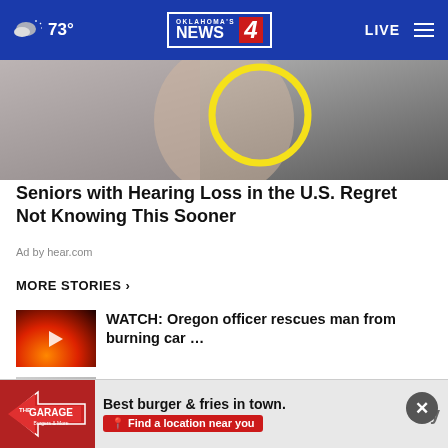73° | Oklahoma's News 4 | LIVE
[Figure (photo): Partial face/hair photo with yellow circle highlight overlay, grayscale]
Seniors with Hearing Loss in the U.S. Regret Not Knowing This Sooner
Ad by hear.com
MORE STORIES >
WATCH: Oregon officer rescues man from burning car …
Video: Ohio educator saves choking student
[Figure (photo): Bottom ad banner: The Garage burger restaurant ad — Best burger & fries in town. Find a location near you]